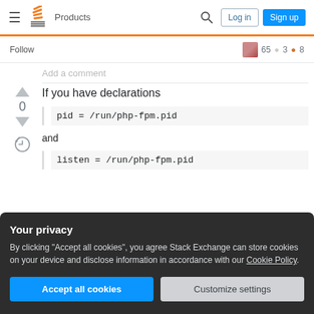≡  Stack Overflow  Products  🔍  Log in  Sign up
Follow  65 · 3 · 8  Add a comment
If you have declarations
0
and
Your privacy
By clicking "Accept all cookies", you agree Stack Exchange can store cookies on your device and disclose information in accordance with our Cookie Policy.
Accept all cookies   Customize settings
Follow  81 · 2